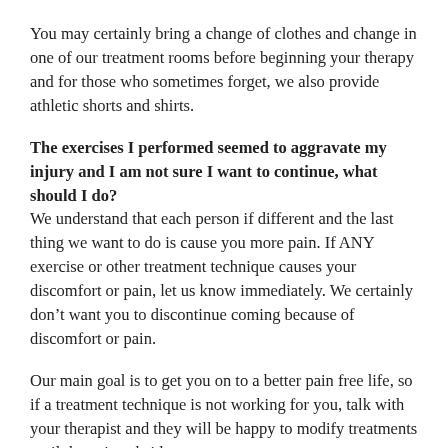You may certainly bring a change of clothes and change in one of our treatment rooms before beginning your therapy and for those who sometimes forget, we also provide athletic shorts and shirts.
The exercises I performed seemed to aggravate my injury and I am not sure I want to continue, what should I do?
We understand that each person if different and the last thing we want to do is cause you more pain. If ANY exercise or other treatment technique causes your discomfort or pain, let us know immediately. We certainly don’t want you to discontinue coming because of discomfort or pain.
Our main goal is to get you on to a better pain free life, so if a treatment technique is not working for you, talk with your therapist and they will be happy to modify treatments until the pain subsides.